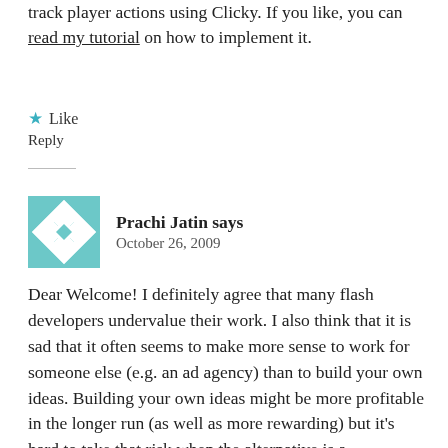track player actions using Clicky. If you like, you can read my tutorial on how to implement it.
★ Like
Reply
Prachi Jatin says
October 26, 2009
Dear Welcome! I definitely agree that many flash developers undervalue their work. I also think that it is sad that it often seems to make more sense to work for someone else (e.g. an ad agency) than to build your own ideas. Building your own ideas might be more profitable in the longer run (as well as more rewarding) but it's hard to take that risk when the alternative is a guaranteed income for working 9-5. I also don't think it's restricted to just flash games development, other areas of flash (and web in general) developers staff